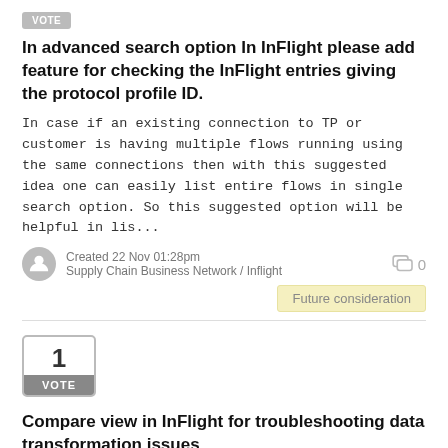In advanced search option In InFlight please add feature for checking the InFlight entries giving the protocol profile ID.
In case if an existing connection to TP or customer is having multiple flows running using the same connections then with this suggested idea one can easily list entire flows in single search option. So this suggested option will be helpful in lis...
Created 22 Nov 01:28pm
Supply Chain Business Network / Inflight
Future consideration
[Figure (other): Vote box showing 1 vote with VOTE label]
Compare view in InFlight for troubleshooting data transformation issues
In InFlight we have separate views where we can see the original data and the translated data through the map. It would be helpful to have compare view option in InFlight where we can see the